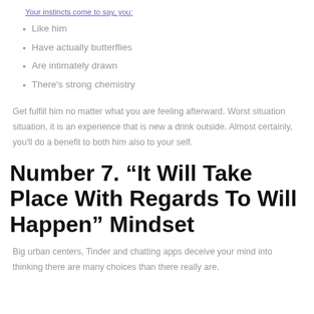Your instincts come to say, you:
Like him
Have actually butterflies
Are intimately drawn
There's strong chemistry
Get fulfill him no matter what you are feeling afterward. Worst situation situation, it is an experience that is new a drink outside. Almost certainly, you'll do a benefit to both him also to your self.
Number 7. “It Will Take Place With Regards To Will Happen” Mindset
Big urban centers, Tinder and chatting apps deceive your mind into thinking there are many choices than there really are.